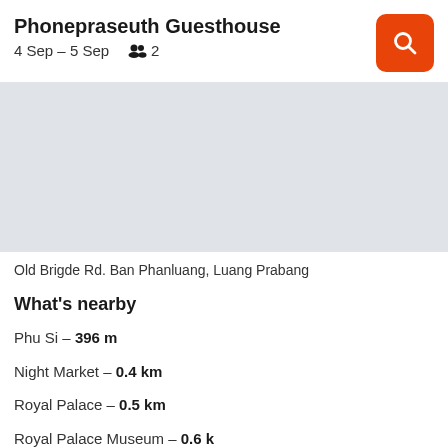Phonepraseuth Guesthouse
4 Sep – 5 Sep   👥 2
[Figure (photo): Light gray placeholder image area for the guesthouse photo]
Old Brigde Rd. Ban Phanluang, Luang Prabang
What's nearby
Phu Si – 396 m
Night Market – 0.4 km
Royal Palace – 0.5 km
Royal Palace Museum – 0.6 km